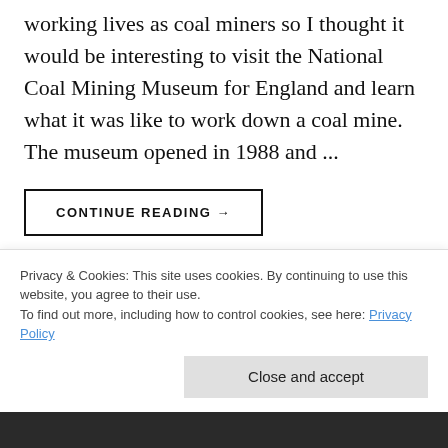working lives as coal miners so I thought it would be interesting to visit the National Coal Mining Museum for England and learn what it was like to work down a coal mine.  The museum opened in 1988 and ...
CONTINUE READING →
Share this:
Tweet  [LinkedIn SHARE]  [Pin it]  [✉ Email]
Privacy & Cookies: This site uses cookies. By continuing to use this website, you agree to their use.
To find out more, including how to control cookies, see here: Privacy Policy
Close and accept